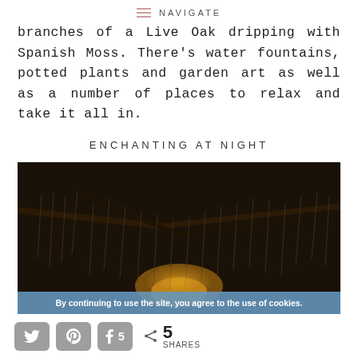NAVIGATE
branches of a Live Oak dripping with Spanish Moss. There's water fountains, potted plants and garden art as well as a number of places to relax and take it all in.
ENCHANTING AT NIGHT
[Figure (photo): Dark nighttime photo of tree branches draped with Spanish Moss, with a warm orange/yellow light glow visible through the moss and branches]
By continuing to use the site, you agree to the use of cookies.